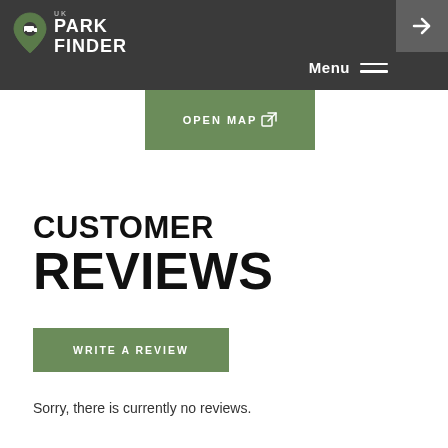UK Park Finder
[Figure (screenshot): Green Open Map button with external link icon]
CUSTOMER REVIEWS
[Figure (screenshot): Green Write a Review button]
Sorry, there is currently no reviews.